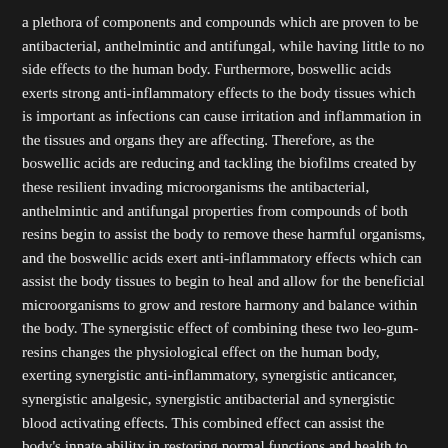a plethora of components and compounds which are proven to be antibacterial, anthelmintic and antifungal, while having little to no side effects to the human body. Furthermore, boswellic acids exerts strong anti-inflammatory effects to the body tissues which is important as infections can cause irritation and inflammation in the tissues and organs they are affecting. Therefore, as the boswellic acids are reducing and tackling the biofilms created by these resilient invading microorganisms the antibacterial, anthelmintic and antifungal properties from compounds of both resins begin to assist the body to remove these harmful organisms, and the boswellic acids exert anti-inflammatory effects which can assist the body tissues to begin to heal and allow for the beneficial microorganisms to grow and restore harmony and balance within the body. The synergistic effect of combining these two leo-gum-resins changes the physiological effect on the human body, exerting synergistic anti-inflammatory, synergistic anticancer, synergistic analgesic, synergistic antibacterial and synergistic blood activating effects. This combined effect can assist the body's innate ability in restoring normal functions and health to the body tissues infected by biofilm enclosed pathogenic organisms.